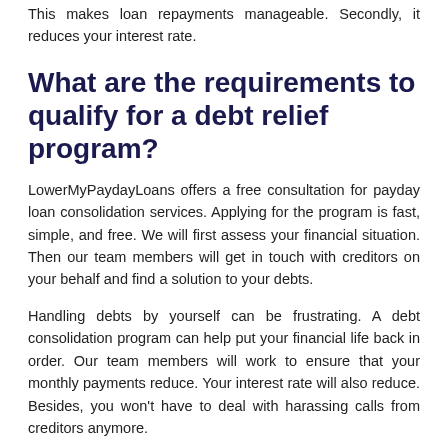This makes loan repayments manageable. Secondly, it reduces your interest rate.
What are the requirements to qualify for a debt relief program?
LowerMyPaydayLoans offers a free consultation for payday loan consolidation services. Applying for the program is fast, simple, and free. We will first assess your financial situation. Then our team members will get in touch with creditors on your behalf and find a solution to your debts.
Handling debts by yourself can be frustrating. A debt consolidation program can help put your financial life back in order. Our team members will work to ensure that your monthly payments reduce. Your interest rate will also reduce. Besides, you won't have to deal with harassing calls from creditors anymore.